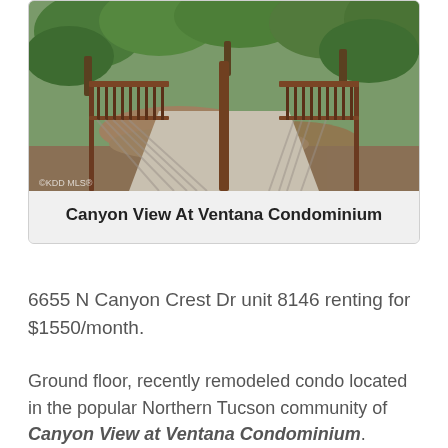[Figure (photo): Photo of a balcony/patio with iron railings overlooking desert landscape with trees and rocks]
Canyon View At Ventana Condominium
6655 N Canyon Crest Dr unit 8146 renting for $1550/month.
Ground floor, recently remodeled condo located in the popular Northern Tucson community of Canyon View at Ventana Condominium. Beautiful kitchen with granite counters, SS appliances, lots of cabinet space and breakfast bar. Views, views views! Enjoy the